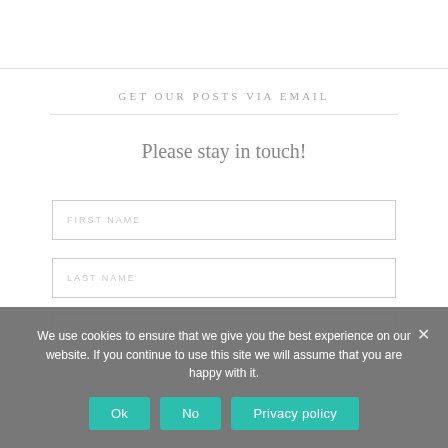GET OUR POSTS VIA EMAIL
Please stay in touch!
FIRST NAME
LAST NAME
We use cookies to ensure that we give you the best experience on our website. If you continue to use this site we will assume that you are happy with it.
Ok
No
Privacy policy